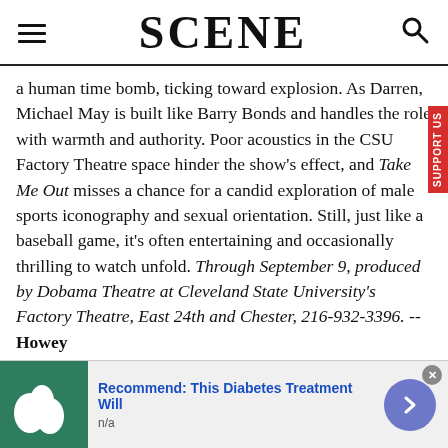SCENE
a human time bomb, ticking toward explosion. As Darren, Michael May is built like Barry Bonds and handles the role with warmth and authority. Poor acoustics in the CSU Factory Theatre space hinder the show's effect, and Take Me Out misses a chance for a candid exploration of male sports iconography and sexual orientation. Still, just like a baseball game, it's often entertaining and occasionally thrilling to watch unfold. Through September 9, produced by Dobama Theatre at Cleveland State University's Factory Theatre, East 24th and Chester, 216-932-3396. -- Howey
[Figure (screenshot): Advertisement bar at bottom: image of white eggs/produce on green background, blue link text 'Recommend: This Diabetes Treatment Will', subtext 'n/a', purple circle arrow button, grey close X button]